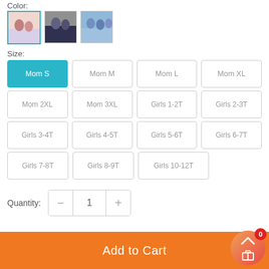Color:
[Figure (screenshot): Three color thumbnail images for product selection, first one selected with teal border]
Size:
Mom S (selected), Mom M, Mom L, Mom XL
Mom 2XL, Mom 3XL, Girls 1-2T, Girls 2-3T
Girls 3-4T, Girls 4-5T, Girls 5-6T, Girls 6-7T
Girls 7-8T, Girls 8-9T, Girls 10-12T
Quantity: 1
Add to Cart